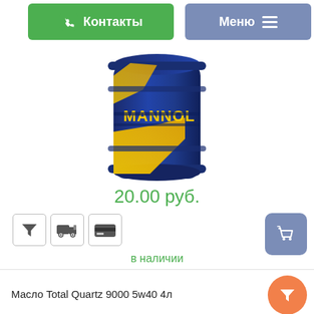Контакты  Меню
[Figure (photo): MANNOL oil barrel (blue drum with yellow MANNOL branding)]
20.00 руб.
[Figure (infographic): Row of icons: filter funnel, delivery truck, payment card; cart button on right]
в наличии
Масло Total Quartz 9000 5w40 4л